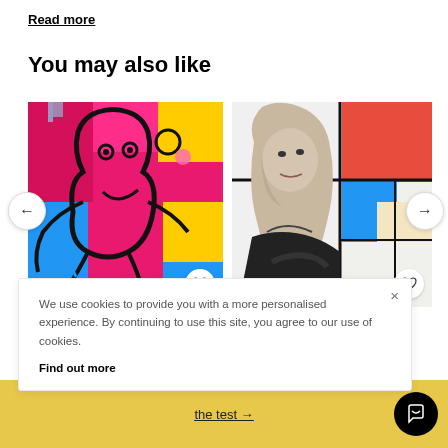Read more
You may also like
[Figure (photo): Colorful abstract expressionist painting with black outlines on bright pink, red, yellow, blue background depicting a stylized figure]
[Figure (photo): Black and white portrait of a woman with long hair, painted in front of a Mondrian-style colorful geometric background]
We use cookies to provide you with a more personalised experience. By continuing to use this site, you agree to our use of cookies.
Find out more
nichou
work now
the test →